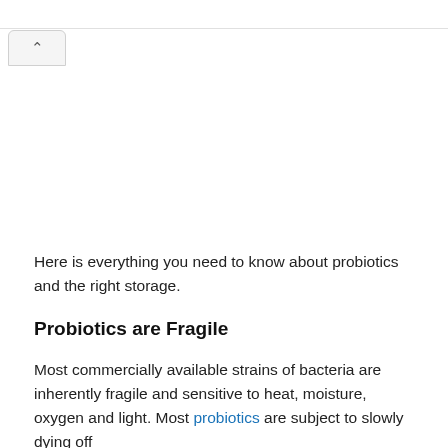Here is everything you need to know about probiotics and the right storage.
Probiotics are Fragile
Most commercially available strains of bacteria are inherently fragile and sensitive to heat, moisture, oxygen and light. Most probiotics are subject to slowly dying off